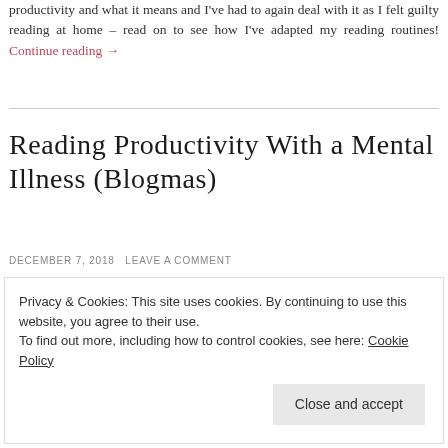productivity and what it means and I've had to again deal with it as I felt guilty reading at home – read on to see how I've adapted my reading routines! Continue reading →
Reading Productivity With a Mental Illness (Blogmas)
DECEMBER 7, 2018  LEAVE A COMMENT
Privacy & Cookies: This site uses cookies. By continuing to use this website, you agree to their use.
To find out more, including how to control cookies, see here: Cookie Policy
Close and accept